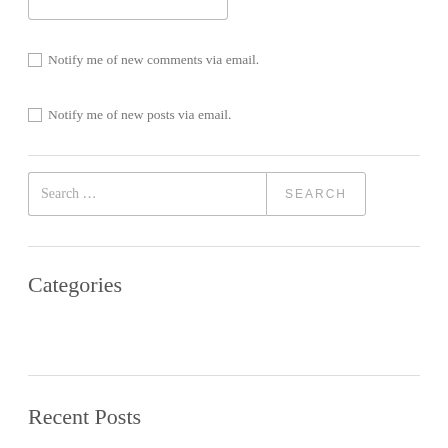Notify me of new comments via email.
Notify me of new posts via email.
Search …
Categories
Select Category
Recent Posts